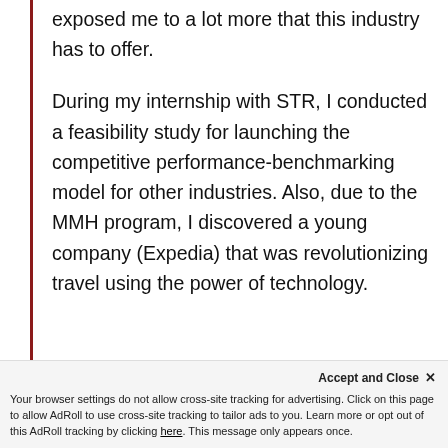exposed me to a lot more that this industry has to offer.
During my internship with STR, I conducted a feasibility study for launching the competitive performance-benchmarking model for other industries. Also, due to the MMH program, I discovered a young company (Expedia) that was revolutionizing travel using the power of technology.
The advice I received from profes...
Accept and Close x
Your browser settings do not allow cross-site tracking for advertising. Click on this page to allow AdRoll to use cross-site tracking to tailor ads to you. Learn more or opt out of this AdRoll tracking by clicking here. This message only appears once.